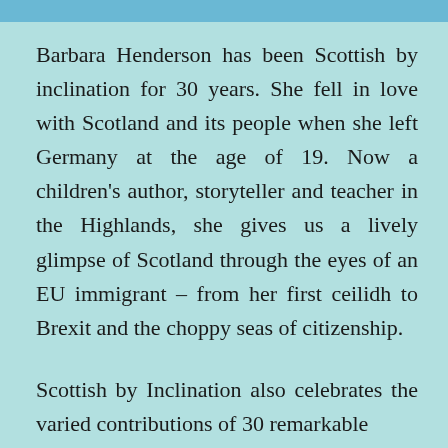Barbara Henderson has been Scottish by inclination for 30 years. She fell in love with Scotland and its people when she left Germany at the age of 19. Now a children's author, storyteller and teacher in the Highlands, she gives us a lively glimpse of Scotland through the eyes of an EU immigrant – from her first ceilidh to Brexit and the choppy seas of citizenship.
Scottish by Inclination also celebrates the varied contributions of 30 remarkable